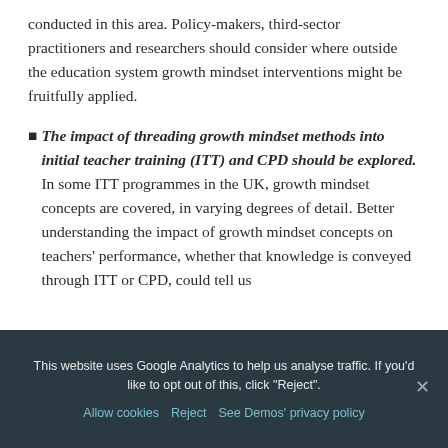conducted in this area. Policy-makers, third-sector practitioners and researchers should consider where outside the education system growth mindset interventions might be fruitfully applied.
The impact of threading growth mindset methods into initial teacher training (ITT) and CPD should be explored. In some ITT programmes in the UK, growth mindset concepts are covered, in varying degrees of detail. Better understanding the impact of growth mindset concepts on teachers' performance, whether that knowledge is conveyed through ITT or CPD, could tell us
This website uses Google Analytics to help us analyse traffic. If you'd like to opt out of this, click "Reject".
Allow cookies   Reject   See Demos' privacy policy